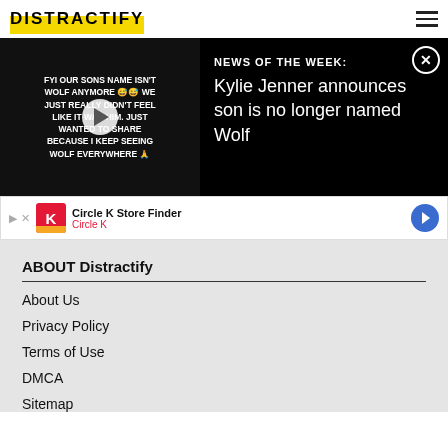DISTRACTIFY
[Figure (screenshot): Video player showing dark background with white uppercase text: FYI OUR SONS NAME ISN'T WOLF ANYMORE 😅😅 WE JUST REALLY DIDN'T FEEL LIKE IT WAS HIM. JUST WANTED TO SHARE BECAUSE I KEEP SEEING WOLF EVERYWHERE 🙏 with a play button overlay]
NEWS OF THE WEEK: Kylie Jenner announces son is no longer named Wolf
[Figure (screenshot): Advertisement banner for Circle K Store Finder with Circle K logo]
ABOUT Distractify
About Us
Privacy Policy
Terms of Use
DMCA
Sitemap